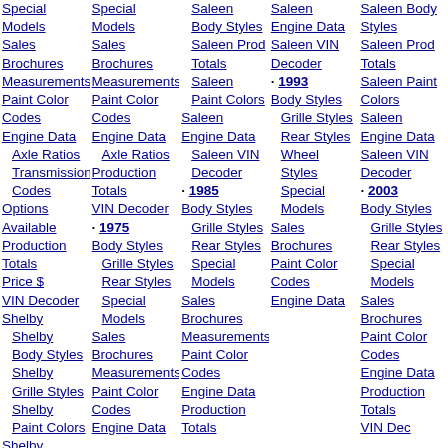Special Models Sales Brochures Measurements Paint Color Codes Engine Data Axle Ratios Transmission Codes Options Available Production Totals Price $ VIN Decoder Shelby Shelby Body Styles Shelby Grille Styles Shelby Paint Colors Shelby
Special Models Sales Brochures Measurements Paint Color Codes Engine Data Axle Ratios Production Totals VIN Decoder · 1975 Body Styles Grille Styles Rear Styles Special Models Sales Brochures Measurements Paint Color Codes Engine Data
Saleen Body Styles Saleen Prod Totals Saleen Paint Colors Saleen Engine Data Saleen VIN Decoder · 1985 Body Styles Grille Styles Rear Styles Special Models Sales Brochures Measurements Paint Color Codes Engine Data Production Totals
Saleen Engine Data Saleen VIN Decoder · 1993 Body Styles Grille Styles Rear Styles Wheel Styles Special Models Sales Brochures Paint Color Codes Engine Data
Saleen Body Styles Saleen Prod Totals Saleen Paint Colors Saleen Engine Data Saleen VIN Decoder · 2003 Body Styles Grille Styles Rear Styles Special Models Sales Brochures Paint Color Codes Engine Data Production Totals VIN Dec